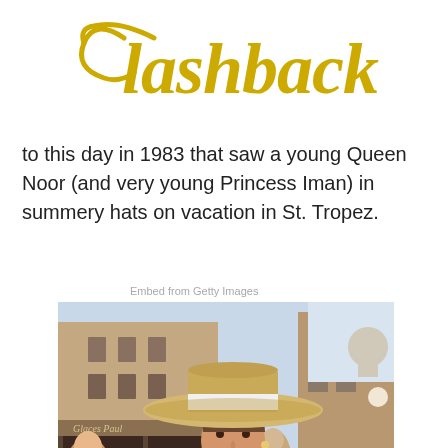Flashback
to this day in 1983 that saw a young Queen Noor (and very young Princess Iman) in summery hats on vacation in St. Tropez.
Embed from Getty Images
[Figure (photo): Color photograph of a smiling woman wearing a wide-brimmed straw boater hat with a white band, holding a baby, in a sunny street scene in St. Tropez, 1983. Storefronts and crowds visible in the background.]